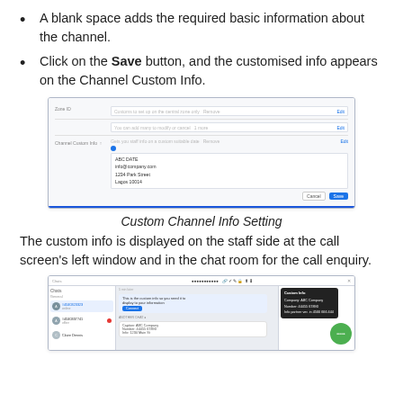A blank space adds the required basic information about the channel.
Click on the Save button, and the customised info appears on the Channel Custom Info.
[Figure (screenshot): Screenshot of Channel Custom Info Setting interface showing fields and a save button]
Custom Channel Info Setting
The custom info is displayed on the staff side at the call screen's left window and in the chat room for the call enquiry.
[Figure (screenshot): Screenshot of the staff side call screen showing custom info displayed in a popup on the left window and chat room]